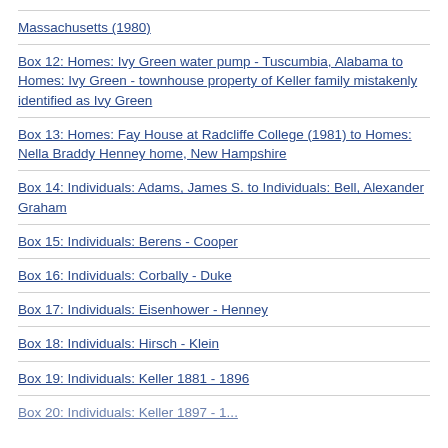Massachusetts (1980)
Box 12: Homes: Ivy Green water pump - Tuscumbia, Alabama to Homes: Ivy Green - townhouse property of Keller family mistakenly identified as Ivy Green
Box 13: Homes: Fay House at Radcliffe College (1981) to Homes: Nella Braddy Henney home, New Hampshire
Box 14: Individuals: Adams, James S. to Individuals: Bell, Alexander Graham
Box 15: Individuals: Berens - Cooper
Box 16: Individuals: Corbally - Duke
Box 17: Individuals: Eisenhower - Henney
Box 18: Individuals: Hirsch - Klein
Box 19: Individuals: Keller 1881 - 1896
Box 20: Individuals: Keller 1897 - 1...